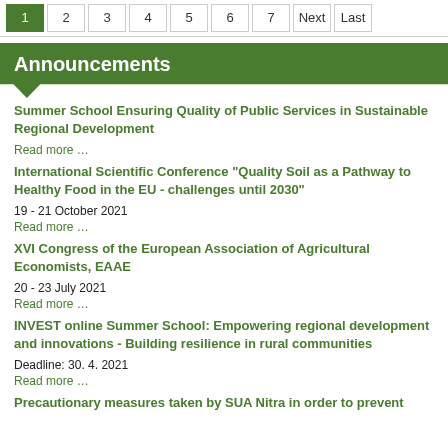1 2 3 4 5 6 7 Next Last
Announcements
Summer School Ensuring Quality of Public Services in Sustainable Regional Development
Read more …
International Scientific Conference "Quality Soil as a Pathway to Healthy Food in the EU - challenges until 2030"
19 - 21 October 2021
Read more …
XVI Congress of the European Association of Agricultural Economists, EAAE
20 - 23 July 2021
Read more …
INVEST online Summer School: Empowering regional development and innovations - Building resilience in rural communities
Deadline: 30. 4. 2021
Read more …
Precautionary measures taken by SUA Nitra in order to prevent